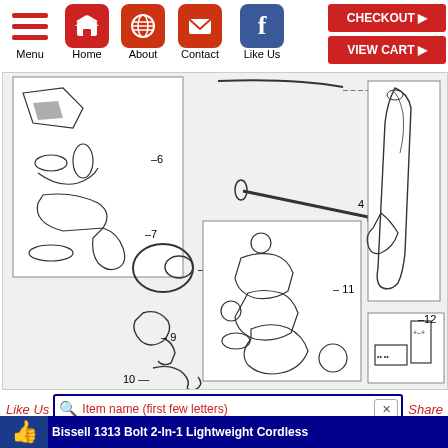[Figure (screenshot): Navigation bar with Menu, Home, About, Contact, Like Us icons and CHECKOUT / VIEW CART buttons]
[Figure (engineering-diagram): Exploded parts diagram of Bissell 1313 Bolt 2-In-1 vacuum cleaner showing numbered parts 4, 6, 7, 8, 9, 10, 11, 12]
[Figure (screenshot): Search bar with Like Us and Share labels, item name search field with magnifying glass icon]
Bissell 1313 Bolt 2-In-1 Lightweight Cordless